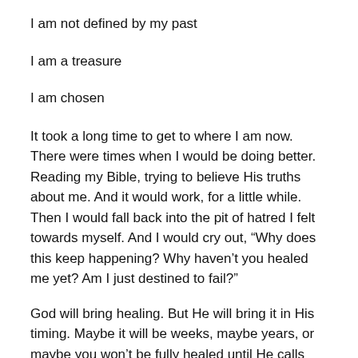I am not defined by my past
I am a treasure
I am chosen
It took a long time to get to where I am now. There were times when I would be doing better. Reading my Bible, trying to believe His truths about me. And it would work, for a little while. Then I would fall back into the pit of hatred I felt towards myself. And I would cry out, “Why does this keep happening? Why haven’t you healed me yet? Am I just destined to fail?”
God will bring healing. But He will bring it in His timing. Maybe it will be weeks, maybe years, or maybe you won’t be fully healed until He calls you home. I don’t know why He allows pain. But maybe it